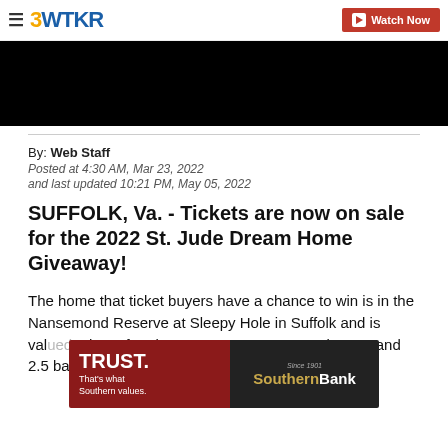3WTKR | Watch Now
[Figure (screenshot): Black video player area]
By: Web Staff
Posted at 4:30 AM, Mar 23, 2022
and last updated 10:21 PM, May 05, 2022
SUFFOLK, Va. - Tickets are now on sale for the 2022 St. Jude Dream Home Giveaway!
The home that ticket buyers have a chance to win is in the Nansemond Reserve at Sleepy Hole in Suffolk and is valued... have four bedrooms and 2.5 baths.
[Figure (advertisement): Southern Bank advertisement with TRUST. That's what Southern values. tagline]